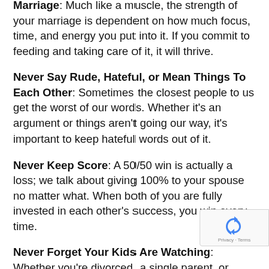Marriage: Much like a muscle, the strength of your marriage is dependent on how much focus, time, and energy you put into it. If you commit to feeding and taking care of it, it will thrive.
Never Say Rude, Hateful, or Mean Things To Each Other: Sometimes the closest people to us get the worst of our words. Whether it's an argument or things aren't going our way, it's important to keep hateful words out of it.
Never Keep Score: A 50/50 win is actually a loss; we talk about giving 100% to your spouse no matter what. When both of you are fully invested in each other's success, you win every time.
Never Forget Your Kids Are Watching: Whether you're divorced, a single parent, or